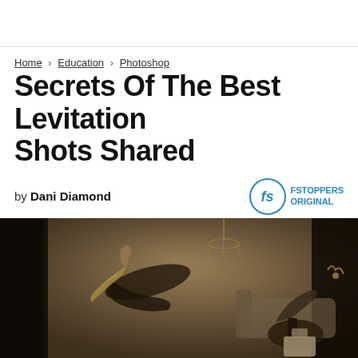Home > Education > Photoshop
Secrets Of The Best Levitation Shots Shared
by Dani Diamond
March 6, 2014 | 30
[Figure (photo): A woman in a black dress appearing to levitate/float horizontally in an elegant room with vintage decor, gramophone, and chandelier. The image has a dark, moody tone.]